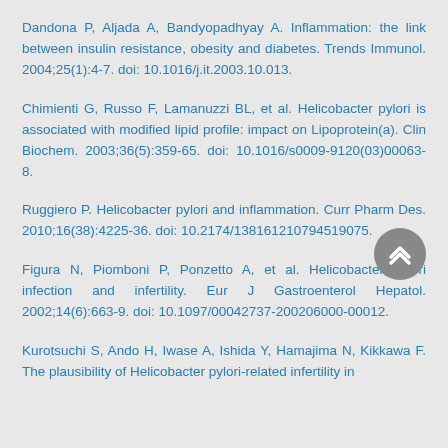Dandona P, Aljada A, Bandyopadhyay A. Inflammation: the link between insulin resistance, obesity and diabetes. Trends Immunol. 2004;25(1):4-7. doi: 10.1016/j.it.2003.10.013.
Chimienti G, Russo F, Lamanuzzi BL, et al. Helicobacter pylori is associated with modified lipid profile: impact on Lipoprotein(a). Clin Biochem. 2003;36(5):359-65. doi: 10.1016/s0009-9120(03)00063-8.
Ruggiero P. Helicobacter pylori and inflammation. Curr Pharm Des. 2010;16(38):4225-36. doi: 10.2174/138161210794519075.
Figura N, Piomboni P, Ponzetto A, et al. Helicobacter pylori infection and infertility. Eur J Gastroenterol Hepatol. 2002;14(6):663-9. doi: 10.1097/00042737-200206000-00012.
Kurotsuchi S, Ando H, Iwase A, Ishida Y, Hamajima N, Kikkawa F. The plausibility of Helicobacter pylori-related infertility in